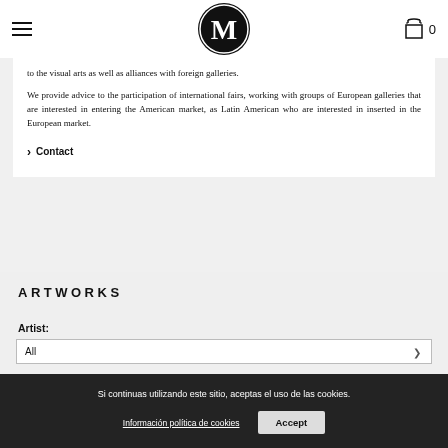[Figure (logo): Circular logo with letter M on dark background, navigation hamburger menu on left, cart icon and 0 on right]
to the visual arts as well as alliances with foreign galleries.
We provide advice to the participation of international fairs, working with groups of European galleries that are interested in entering the American market, as Latin American who are interested in inserted in the European market.
> Contact
ARTWORKS
Artist:
All
Si continuas utilizando este sitio, aceptas el uso de las cookies.
Información política de cookies
Accept